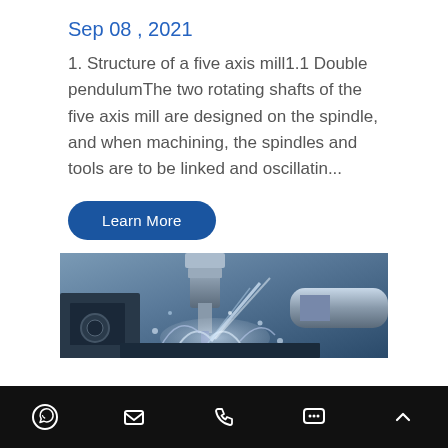Sep 08 , 2021
1. Structure of a five axis mill1.1 Double pendulumThe two rotating shafts of the five axis mill are designed on the spindle, and when machining, the spindles and tools are to be linked and oscillatin...
Learn More
[Figure (photo): Close-up photo of a CNC milling machine in operation with coolant fluid splashing around the cutting tool and workpiece, shown in blue-grey tones]
WhatsApp icon, Email icon, Phone icon, Chat icon, Scroll-to-top icon